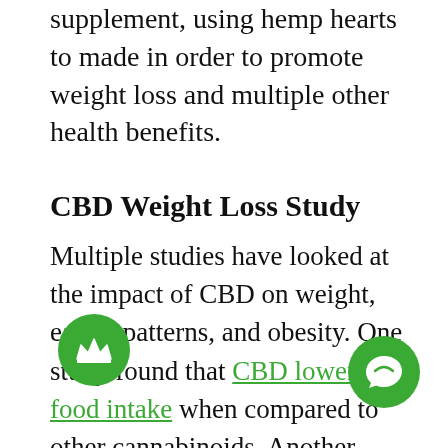supplement, using hemp hearts to made in order to promote weight loss and multiple other health benefits.
CBD Weight Loss Study
Multiple studies have looked at the impact of CBD on weight, eating patterns, and obesity. One study found that CBD lowered food intake when compared to other cannabinoids. Another study shows that CBD promotes fat browning, a process necessary for fat to burn. Research has also identified that cannabidiol may have a positive impact on insulin levels and insulin resistance, and many experts are interested in the impact that CBD could have on people with diabetes. One unique study even found that CBD may lower your risk of diabetes. CBD may also have benefits that help people get more out of